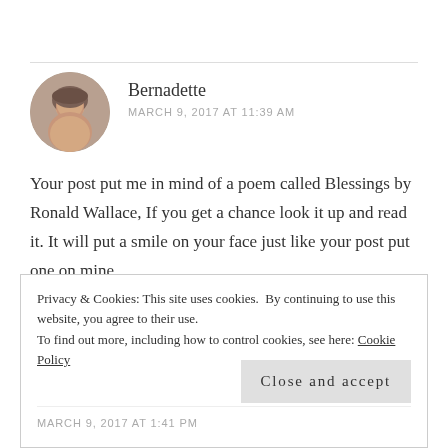[Figure (photo): Circular avatar photo of a woman named Bernadette]
Bernadette
MARCH 9, 2017 AT 11:39 AM
Your post put me in mind of a poem called Blessings by Ronald Wallace, If you get a chance look it up and read it. It will put a smile on your face just like your post put one on mine.
Liked by 2 people
Privacy & Cookies: This site uses cookies. By continuing to use this website, you agree to their use.
To find out more, including how to control cookies, see here: Cookie Policy
Close and accept
MARCH 9, 2017 AT 1:41 PM